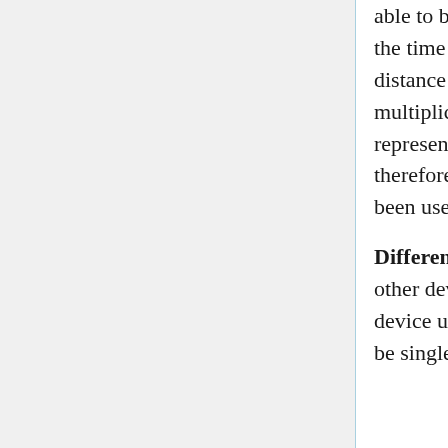able to break a cipher that is otherwise resistant to analysis. For example, the time required for a shift or rotation operation may depend on the distance shifted, and on some computers the time required for a multiplication operation depends on the number of ones in the binary representation of one operand. An analyst who gets timing data may therefore be able to infer something useful. Power analysis has also been used, in much the same way as timing. The two may be combined.
Differential fault analysis attacks a cipher embedded in a smartcard or other device. Apply stress (heat, mechanical stress, radiation, ...) to the device until it begins to make errors; with the right stress level, most will be single-bit errors. Comparing correct and erroneous...